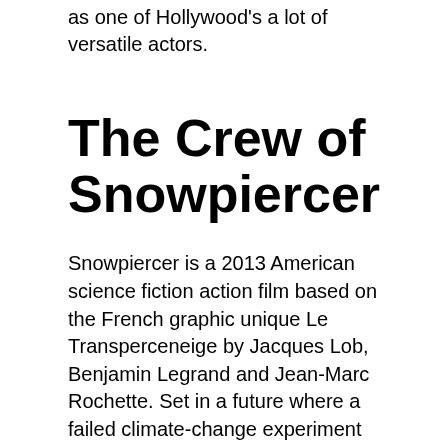as one of Hollywood's a lot of versatile actors.
The Crew of Snowpiercer
Snowpiercer is a 2013 American science fiction action film based on the French graphic unique Le Transperceneige by Jacques Lob, Benjamin Legrand and Jean-Marc Rochette. Set in a future where a failed climate-change experiment has killed all life on the world other than for those aboard the Snowpiercer, a train that takes a trip around the world, the film follows its travelers as